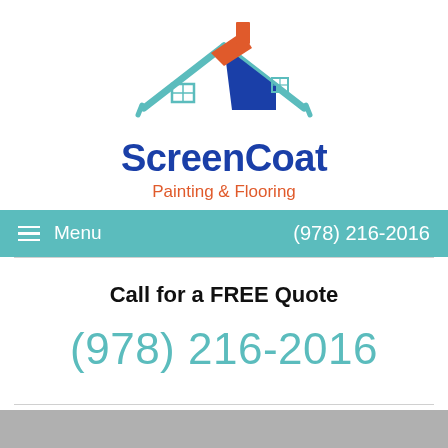[Figure (logo): ScreenCoat Painting & Flooring logo with house icon featuring teal roof lines, orange/red chimney, and blue roof section]
ScreenCoat
Painting & Flooring
Menu   (978) 216-2016
Call for a FREE Quote
(978) 216-2016
[Figure (photo): Gray/dark gray partial image at bottom of page]